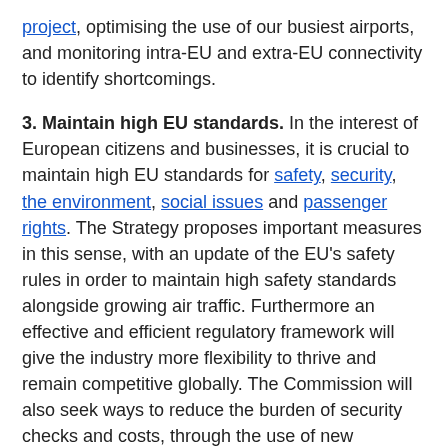project, optimising the use of our busiest airports, and monitoring intra-EU and extra-EU connectivity to identify shortcomings.
3. Maintain high EU standards. In the interest of European citizens and businesses, it is crucial to maintain high EU standards for safety, security, the environment, social issues and passenger rights. The Strategy proposes important measures in this sense, with an update of the EU's safety rules in order to maintain high safety standards alongside growing air traffic. Furthermore an effective and efficient regulatory framework will give the industry more flexibility to thrive and remain competitive globally. The Commission will also seek ways to reduce the burden of security checks and costs, through the use of new technology and a risk-based approach. It will further reinforce the social dialogue and employment conditions in aviation, and pursue a robust global measure to achieve carbon neutral growth from 2020.